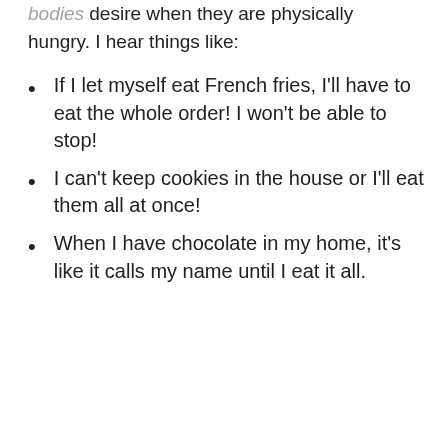bodies desire when they are physically hungry. I hear things like:
If I let myself eat French fries, I'll have to eat the whole order! I won't be able to stop!
I can't keep cookies in the house or I'll eat them all at once!
When I have chocolate in my home, it's like it calls my name until I eat it all.